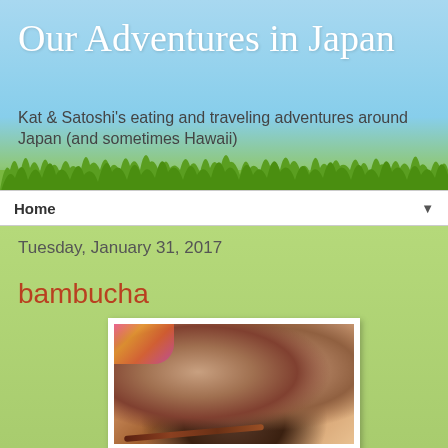Our Adventures in Japan
Kat & Satoshi's eating and traveling adventures around Japan (and sometimes Hawaii)
Home ▼
Tuesday, January 31, 2017
bambucha
[Figure (photo): Photo of a food item (appears to be a meat or seafood dish) on a plate with chopsticks, with floral decoration visible in background]